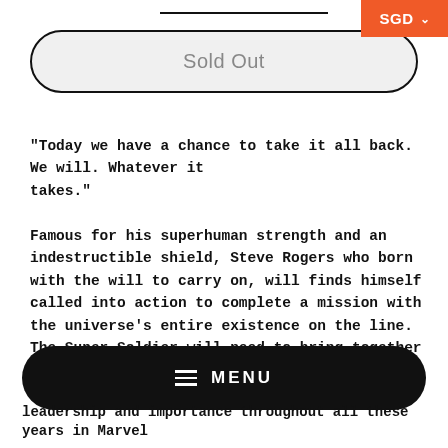SGD
Sold Out
"Today we have a chance to take it all back. We will. Whatever it takes."
Famous for his superhuman strength and an indestructible shield, Steve Rogers who born with the will to carry on, will finds himself called into action to complete a mission with the universe's entire existence on the line. The Super-Soldier will need to bring together his surviving Avengers companions and the World's Mightiest Heroes.
MENU
leadership and importance throughout all these years in Marvel